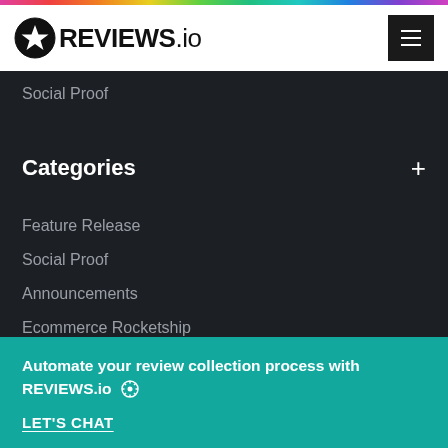REVIEWS.io
Social Proof
Categories
Feature Release
Social Proof
Announcements
Ecommerce Rocketship
Automate your review collection process with REVIEWS.io
LET'S CHAT